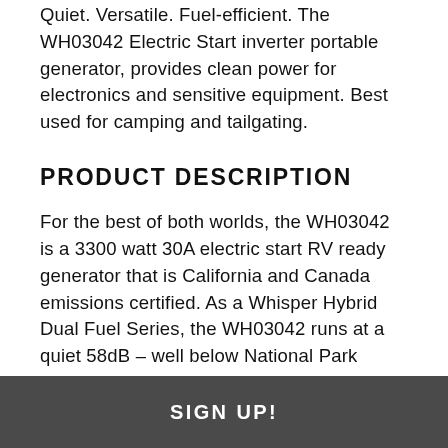Quiet. Versatile. Fuel-efficient. The WH03042 Electric Start inverter portable generator, provides clean power for electronics and sensitive equipment. Best used for camping and tailgating.
PRODUCT DESCRIPTION
For the best of both worlds, the WH03042 is a 3300 watt 30A electric start RV ready generator that is California and Canada emissions certified. As a Whisper Hybrid Dual Fuel Series, the WH03042 runs at a quiet 58dB – well below National Park standards and can use either gasoline or propane. With a 1.8gal tank, this beauty will run for 10hrs. Our Max Pro Series 171cc engine runs cool and efficient.
SIGN UP!